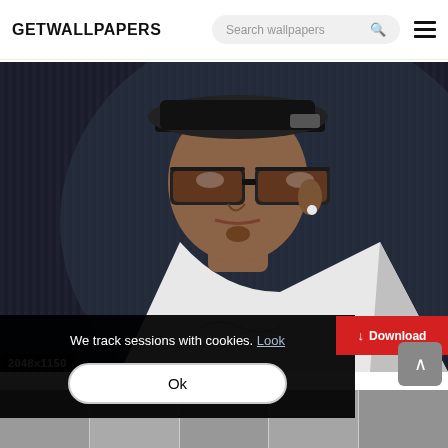GETWALLPAPERS
[Figure (screenshot): Screenshot of getwallpapers.com website showing a man with sunglasses and a backwards cap, with a cookie consent overlay and a download button.]
2048x1150
We track sessions with cookies. Look
Ok
↓ Download